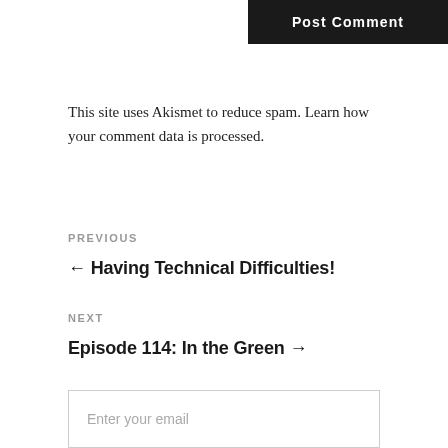Post Comment
This site uses Akismet to reduce spam. Learn how your comment data is processed.
PREVIOUS
← Having Technical Difficulties!
NEXT
Episode 114: In the Green →
Enter your email